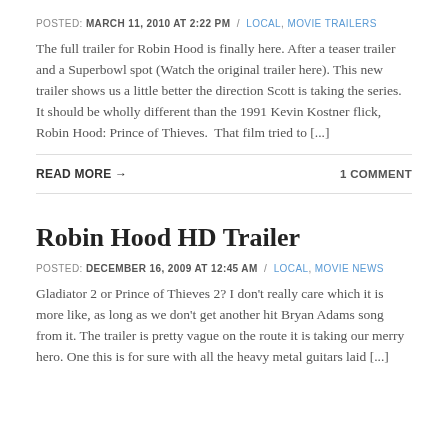POSTED: MARCH 11, 2010 AT 2:22 PM / LOCAL, MOVIE TRAILERS
The full trailer for Robin Hood is finally here. After a teaser trailer and a Superbowl spot (Watch the original trailer here). This new trailer shows us a little better the direction Scott is taking the series. It should be wholly different than the 1991 Kevin Kostner flick, Robin Hood: Prince of Thieves.  That film tried to [...]
READ MORE →
1 COMMENT
Robin Hood HD Trailer
POSTED: DECEMBER 16, 2009 AT 12:45 AM / LOCAL, MOVIE NEWS
Gladiator 2 or Prince of Thieves 2? I don't really care which it is more like, as long as we don't get another hit Bryan Adams song from it. The trailer is pretty vague on the route it is taking our merry hero. One this is for sure with all the heavy metal guitars laid [...]